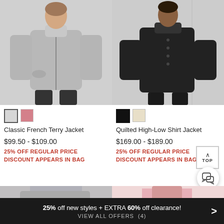[Figure (photo): Woman wearing a gray Classic French Terry Jacket]
[Figure (photo): Woman wearing a black Quilted High-Low Shirt Jacket]
Classic French Terry Jacket
$99.50 - $109.00
25% OFF REGULAR PRICE
DISCOUNT APPEARS IN BAG
Quilted High-Low Shirt Jacket
$169.00 - $189.00
25% OFF REGULAR PRICE
DISCOUNT APPEARS IN BAG
[Figure (photo): Partial photo of athletic wear product]
[Figure (photo): Partial photo of pink athletic wear product]
25% off new styles + EXTRA 60% off clearance!
VIEW ALL OFFERS  (4)